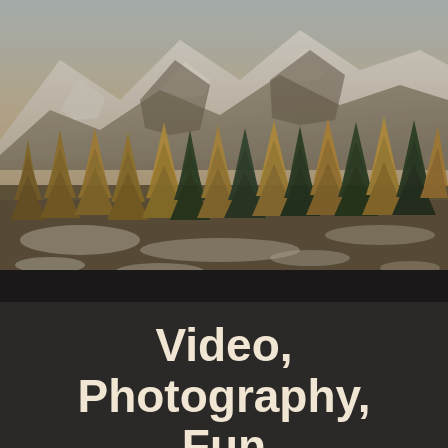[Figure (photo): Aerial/landscape photograph of a mountainside with dense conifer trees (spruce/fir) in warm amber/golden tones mixed with dark green, with snow-dusted rocky mountain peaks visible in the background. The scene has a moody, autumn/winter feel with earthy tones.]
Video, Photography, Fun
This site is a long time coming. It's been a very back-burner project- which is silly when you think about how much a site is a